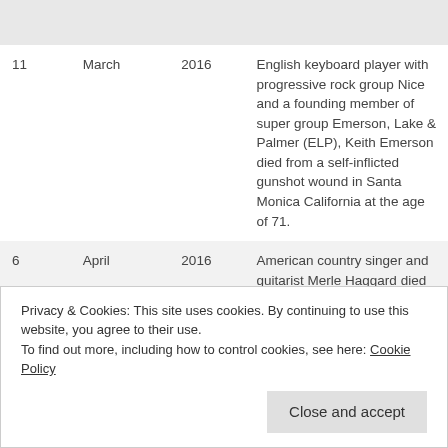| Day | Month | Year | Description |
| --- | --- | --- | --- |
| 11 | March | 2016 | English keyboard player with progressive rock group Nice and a founding member of super group Emerson, Lake & Palmer (ELP), Keith Emerson died from a self-inflicted gunshot wound in Santa Monica California at the age of 71. |
| 6 | April | 2016 | American country singer and guitarist Merle Haggard died on his birthday as a result of complications from pneumonia... |
| 8 | April | 2016 | 2016', including Cheap Trick, |
Privacy & Cookies: This site uses cookies. By continuing to use this website, you agree to their use. To find out more, including how to control cookies, see here: Cookie Policy